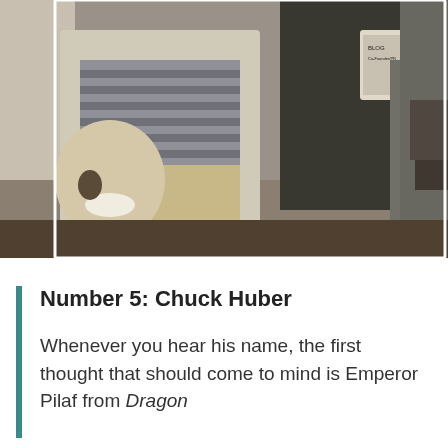[Figure (photo): Black and white photograph of two people standing together. The person on the left is laughing and wearing a striped shirt with khaki pants. The person on the right is wearing a black t-shirt with a badge/lanyard and gray jacket.]
Number 5: Chuck Huber
Whenever you hear his name, the first thought that should come to mind is Emperor Pilaf from Dragon